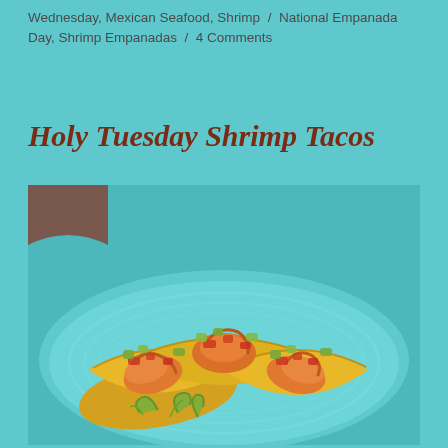Wednesday, Mexican Seafood, Shrimp / National Empanada Day, Shrimp Empanadas / 4 Comments
Holy Tuesday Shrimp Tacos
[Figure (photo): Three shrimp tacos in yellow corn tortillas topped with salsa, avocado chunks, and cilantro, served on a teal ridged plate]
We all love Taco Tuesday, even during Holy Week. In the past, we've tried to refrain from